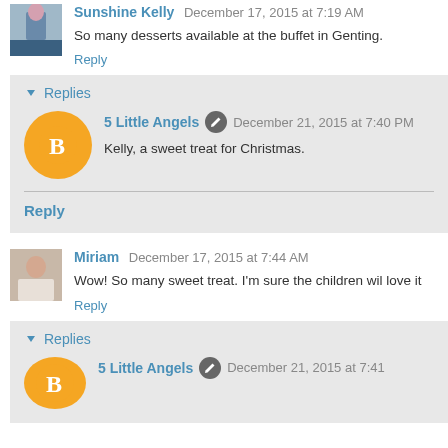Sunshine Kelly December 17, 2015 at 7:19 AM
So many desserts available at the buffet in Genting.
Reply
Replies
5 Little Angels December 21, 2015 at 7:40 PM
Kelly, a sweet treat for Christmas.
Reply
Miriam December 17, 2015 at 7:44 AM
Wow! So many sweet treat. I'm sure the children wil love it
Reply
Replies
5 Little Angels December 21, 2015 at 7:41